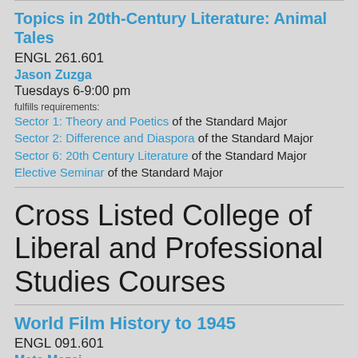Topics in 20th-Century Literature: Animal Tales
ENGL 261.601
Jason Zuzga
Tuesdays 6-9:00 pm
fulfills requirements:
Sector 1: Theory and Poetics of the Standard Major
Sector 2: Difference and Diaspora of the Standard Major
Sector 6: 20th Century Literature of the Standard Major
Elective Seminar of the Standard Major
Cross Listed College of Liberal and Professional Studies Courses
World Film History to 1945
ENGL 091.601
Meta Mazai